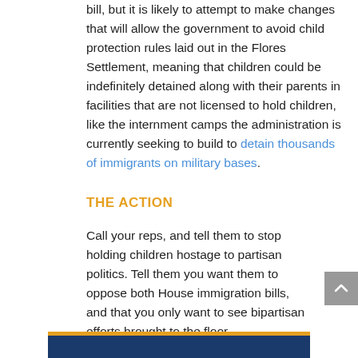bill, but it is likely to attempt to make changes that will allow the government to avoid child protection rules laid out in the Flores Settlement, meaning that children could be indefinitely detained along with their parents in facilities that are not licensed to hold children, like the internment camps the administration is currently seeking to build to detain thousands of immigrants on military bases.
THE ACTION
Call your reps, and tell them to stop holding children hostage to partisan politics. Tell them you want them to oppose both House immigration bills, and that you only want to see bipartisan efforts brought to the floor.